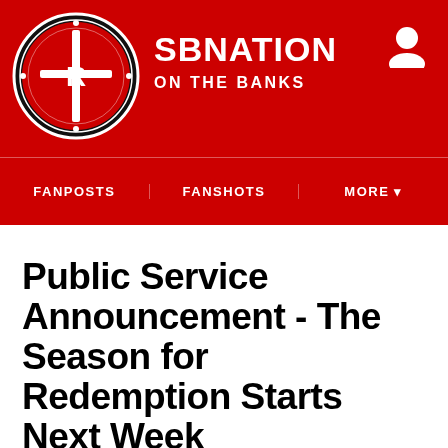SBNation ON THE BANKS
FANPOSTS | FANSHOTS | MORE
Public Service Announcement - The Season for Redemption Starts Next Week
By Brooklyn Observer | Aug 23, 2011, 11:50pm EDT
SHARE